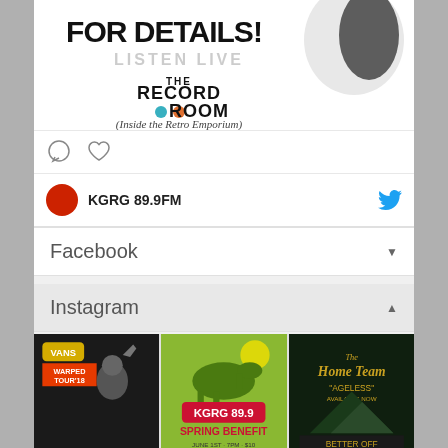[Figure (photo): Social media post image showing 'FOR DETAILS!' text, 'LISTEN LIVE' text, and The Record Room (Inside the Retro Emporium) logo with vinyl record dots]
[Figure (illustration): Social media post action icons: comment bubble and heart/like icon]
KGRG 89.9FM
Facebook
Instagram
[Figure (photo): Vans Warped Tour '18 - black and white photo of performer with hand raised]
[Figure (photo): KGRG 89.9fm Spring Benefit poster - illustrated dinosaur on green background]
[Figure (photo): The Home Team 'Ageless' album art - 'Better Off' available 7/20/18]
[Figure (photo): Group photo - people in colorful setting]
[Figure (photo): Camera/broadcast equipment photo]
[Figure (photo): Omar - indoor setting with artwork/signs in background]